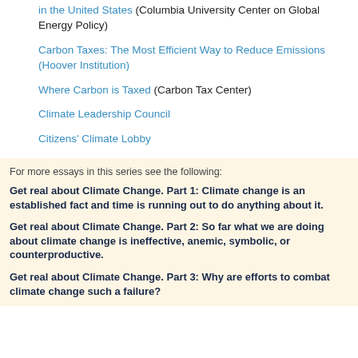in the United States (Columbia University Center on Global Energy Policy)
Carbon Taxes: The Most Efficient Way to Reduce Emissions (Hoover Institution)
Where Carbon is Taxed (Carbon Tax Center)
Climate Leadership Council
Citizens' Climate Lobby
For more essays in this series see the following:
Get real about Climate Change. Part 1: Climate change is an established fact and time is running out to do anything about it.
Get real about Climate Change. Part 2: So far what we are doing about climate change is ineffective, anemic, symbolic, or counterproductive.
Get real about Climate Change. Part 3: Why are efforts to combat climate change such a failure?